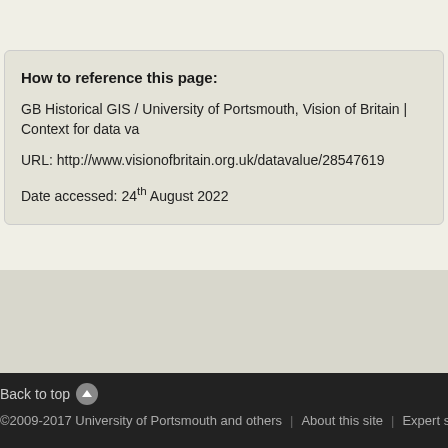How to reference this page:
GB Historical GIS / University of Portsmouth, Vision of Britain | Context for data va
URL: http://www.visionofbritain.org.uk/datavalue/28547619
Date accessed: 24th August 2022
Back to top | ©2009-2017 University of Portsmouth and others | About this site | Expert search | Web